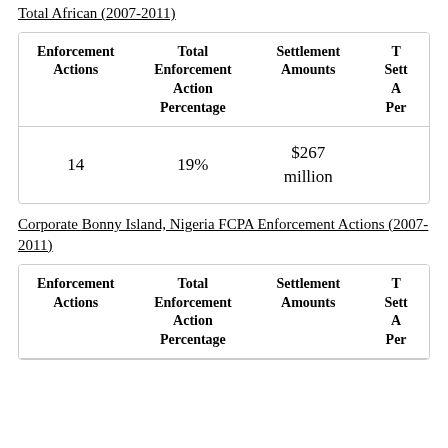Total African (2007-2011)
| Enforcement Actions | Total Enforcement Action Percentage | Settlement Amounts | T... Sett... A... Per... |
| --- | --- | --- | --- |
| 14 | 19% | $267 million |  |
Corporate Bonny Island, Nigeria FCPA Enforcement Actions (2007-2011)
| Enforcement Actions | Total Enforcement Action Percentage | Settlement Amounts | T... Sett... A... Per... |
| --- | --- | --- | --- |